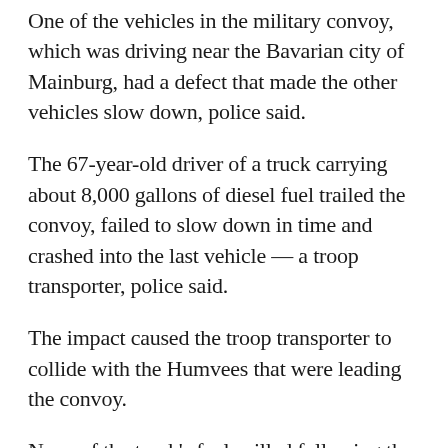One of the vehicles in the military convoy, which was driving near the Bavarian city of Mainburg, had a defect that made the other vehicles slow down, police said.
The 67-year-old driver of a truck carrying about 8,000 gallons of diesel fuel trailed the convoy, failed to slow down in time and crashed into the last vehicle — a troop transporter, police said.
The impact caused the troop transporter to collide with the Humvees that were leading the convoy.
None of the truck's fuel spilled following the collision, police said.